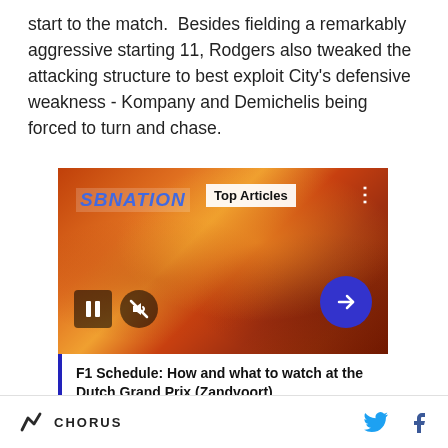start to the match. Besides fielding a remarkably aggressive starting 11, Rodgers also tweaked the attacking structure to best exploit City's defensive weakness - Kompany and Demichelis being forced to turn and chase.
[Figure (screenshot): SBNation media player showing a crowd at what appears to be a sports event with orange smoke/flares. Shows Top Articles label, pause button, mute button, and arrow navigation. Caption reads: F1 Schedule: How and what to watch at the Dutch Grand Prix (Zandvoort)]
CHORUS [twitter icon] [facebook icon]